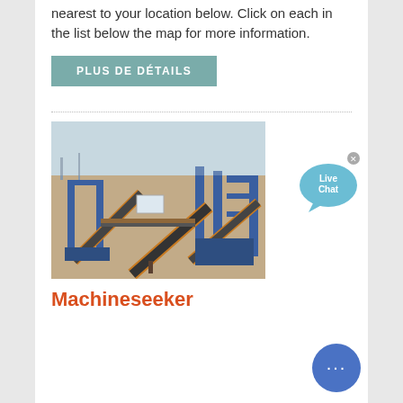nearest to your location below. Click on each in the list below the map for more information.
PLUS DE DÉTAILS
[Figure (photo): Industrial mining or aggregate processing facility with blue conveyor belt equipment and structures on flat sandy terrain.]
Machineseeker